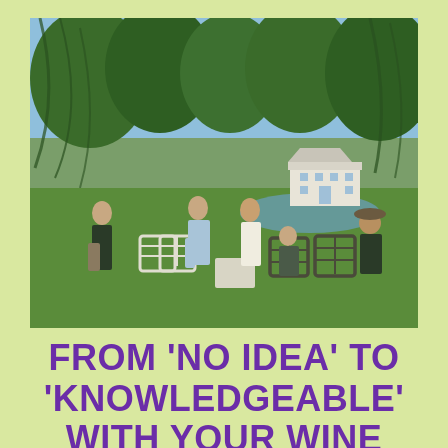[Figure (photo): Outdoor garden party scene with people gathered around white garden chairs and tables on a lawn. Large willow trees in the background. A white manor house is visible across a lake in the distance. Several people are standing and sitting, socializing.]
FROM 'NO IDEA' TO 'KNOWLEDGEABLE' WITH YOUR WINE